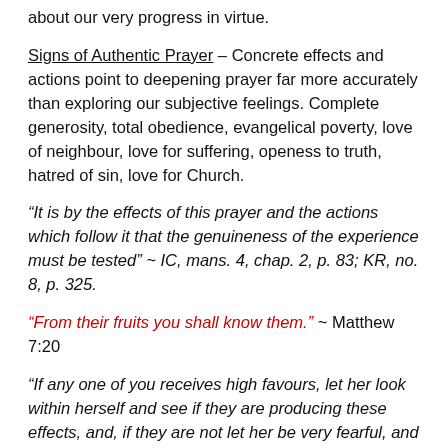about our very progress in virtue.
Signs of Authentic Prayer – Concrete effects and actions point to deepening prayer far more accurately than exploring our subjective feelings. Complete generosity, total obedience, evangelical poverty, love of neighbour, love for suffering, openess to truth, hatred of sin, love for Church.
“It is by the effects of this prayer and the actions which follow it that the genuineness of the experience must be tested” ~ IC, mans. 4, chap. 2, p. 83; KR, no. 8, p. 325.
“From their fruits you shall know them.” ~ Matthew 7:20
“If any one of you receives high favours, let her look within herself and see if they are producing these effects, and, if they are not let her be very fearful, and believe that these